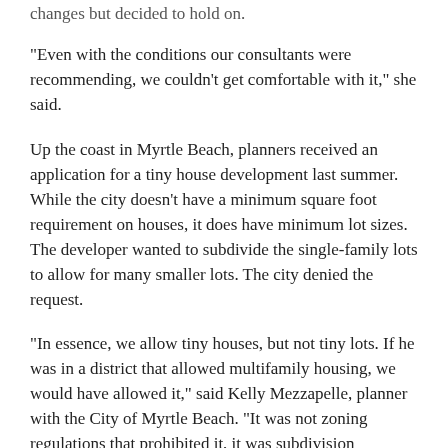changes but decided to hold on.
"Even with the conditions our consultants were recommending, we couldn't get comfortable with it," she said.
Up the coast in Myrtle Beach, planners received an application for a tiny house development last summer. While the city doesn't have a minimum square foot requirement on houses, it does have minimum lot sizes. The developer wanted to subdivide the single-family lots to allow for many smaller lots. The city denied the request.
"In essence, we allow tiny houses, but not tiny lots. If he was in a district that allowed multifamily housing, we would have allowed it," said Kelly Mezzapelle, planner with the City of Myrtle Beach. "It was not zoning regulations that prohibited it, it was subdivision regulations."
She said the developer could have put a tiny house development in the city's five zoning districts that allow multifamily developments.
"Our concerns were tourism-related." Mezzapelle said. "The